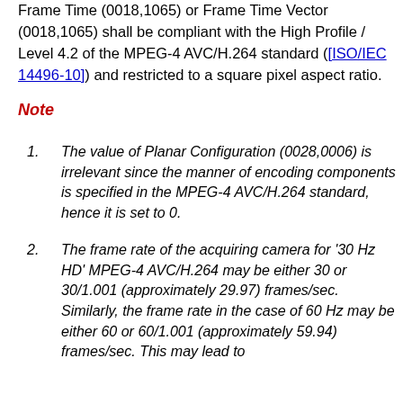Frame Time (0018,1065) or Frame Time Vector (0018,1065) shall be compliant with the High Profile / Level 4.2 of the MPEG-4 AVC/H.264 standard ([ISO/IEC 14496-10]) and restricted to a square pixel aspect ratio.
Note
The value of Planar Configuration (0028,0006) is irrelevant since the manner of encoding components is specified in the MPEG-4 AVC/H.264 standard, hence it is set to 0.
The frame rate of the acquiring camera for '30 Hz HD' MPEG-4 AVC/H.264 may be either 30 or 30/1.001 (approximately 29.97) frames/sec. Similarly, the frame rate in the case of 60 Hz may be either 60 or 60/1.001 (approximately 59.94) frames/sec. This may lead to